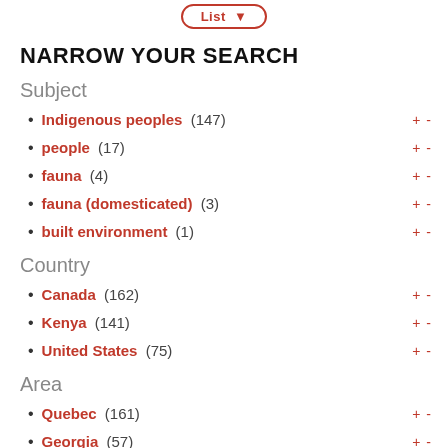NARROW YOUR SEARCH
Subject
Indigenous peoples (147)
people (17)
fauna (4)
fauna (domesticated) (3)
built environment (1)
Country
Canada (162)
Kenya (141)
United States (75)
Area
Quebec (161)
Georgia (57)